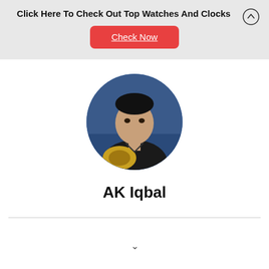Click Here To Check Out Top Watches And Clocks
Check Now
[Figure (photo): Circular profile photo of AK Iqbal, a young man in a dark shirt holding an acoustic guitar, with a blurred background.]
AK Iqbal